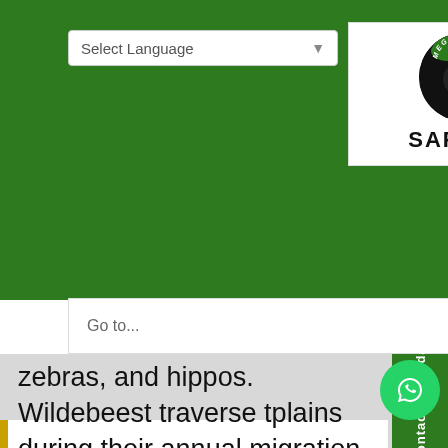[Figure (logo): Mega Wild Safaris logo with gorilla in circular badge and SAFARIS text below]
Select Language
Go to...
zebras, and hippos. Wildebeest traverse the plains during their annual migration. The landscape has grassy plains and rolling hills, and is crossed by the Mara and Talek rivers. You will also visit Nakuru National Park.
Contact Us Today